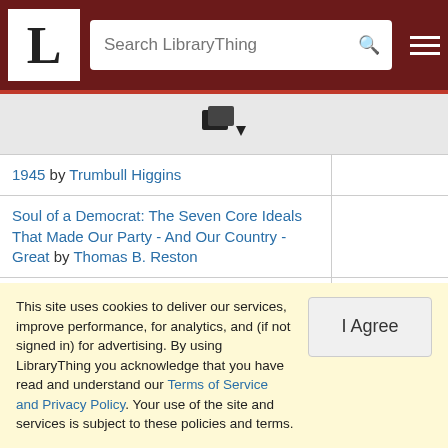LibraryThing header with logo L, search bar, and hamburger menu
[Figure (other): LibraryThing books icon with dropdown arrow]
1945 by Trumbull Higgins
Soul of a Democrat: The Seven Core Ideals That Made Our Party - And Our Country - Great by Thomas B. Reston
Special Envoy to Churchill and Stalin, 1941-1946 by William Averell Harriman
Stalin and His Hangmen by Donald Rayfield
Stalin's War: A New History of World War II by Sean McMeekin
This site uses cookies to deliver our services, improve performance, for analytics, and (if not signed in) for advertising. By using LibraryThing you acknowledge that you have read and understand our Terms of Service and Privacy Policy. Your use of the site and services is subject to these policies and terms.